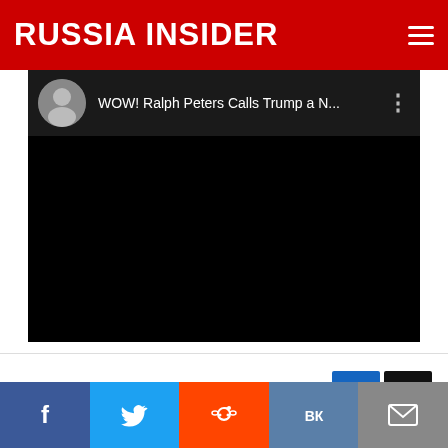RUSSIA INSIDER
[Figure (screenshot): Embedded YouTube video player with black background showing title 'WOW! Ralph Peters Calls Trump a N...' with avatar and menu button]
Russia Insider Tip Jar - Keep truth alive!
[Figure (other): Partial preview image strip below tip jar section]
[Figure (other): Social share bar with Facebook, Twitter, Reddit, VK, and Email buttons]